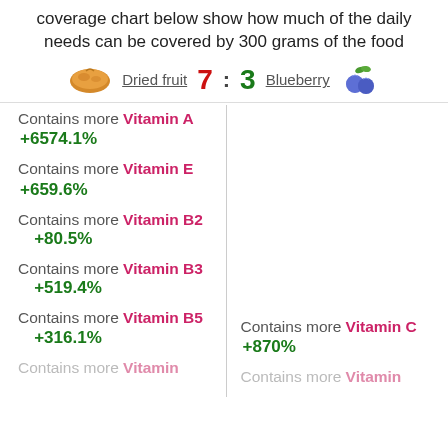coverage chart below show how much of the daily needs can be covered by 300 grams of the food
Dried fruit 7 : 3 Blueberry
Contains more Vitamin A +6574.1%
Contains more Vitamin E +659.6%
Contains more Vitamin B2 +80.5%
Contains more Vitamin B3 +519.4%
Contains more Vitamin B5 +316.1%
Contains more Vitamin C +870%
Contains more Vitamin (faded left)
Contains more Vitamin (faded right)